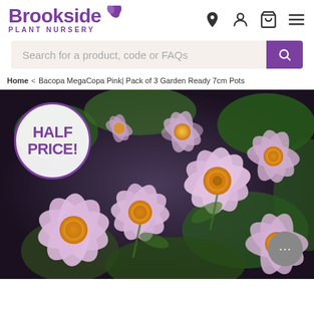[Figure (logo): Brookside Plant Nursery logo with purple text and leaf icons]
Search for a product, code or FAQs
Home < Bacopa MegaCopa Pink| Pack of 3 Garden Ready 7cm Pots
[Figure (photo): Close-up photograph of pink Bacopa MegaCopa flowers with yellow centres against dark green foliage. A circular white badge with purple text reads HALF PRICE!]